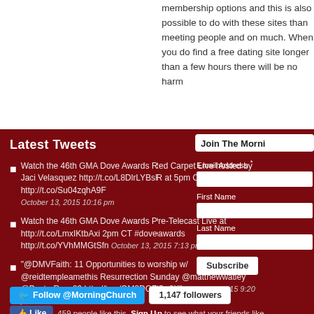membership options and this is also possible to do with these sites than meeting people and on much. When you do find a free dating site longer than a few hours there will be no harm
Latest Tweets
Watch the 46th GMA Dove Awards Red Carpet LIve hosted by Jaci Velasquez http://t.co/L8DlrLYBsR at 5pm CT #doveawards http://t.co/Su04zqhA9F — October 13, 2015 10:16 pm
Watch the 46th GMA Dove Awards Pre-Telecast Live at http://t.co/LmxIKtbAxi 2pm CT #doveawards http://t.co/YVhMMGtSfn October 13, 2015 7:13 pm
"@DMVFaith: 11 Opportunities to worship w/ @reidtempleamethis Resurrection Sunday @matthewwatley @PastorRuss09 http://t.co/OM3DOZOq8K" March 31, 2015 9:20 pm
Follow @MorningChurch | 1,147 followers
Like | 459 people like this. Sign Up to see what your friends like.
Join The Morning | Email Address * | First Name | Last Name | Subscribe